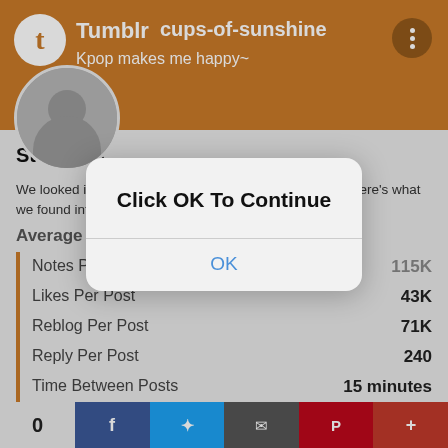Tumblr — cups-of-sunshine — Kpop makes me happy~
Statistics
We looked inside some of the posts by happyheidi and here's what we found interesting.
Average Info
| Metric | Value |
| --- | --- |
| Notes Per Post | 115K |
| Likes Per Post | 43K |
| Reblog Per Post | 71K |
| Reply Per Post | 240 |
| Time Between Posts | 15 minutes |
Number of Posts By Type
[Figure (screenshot): Modal dialog overlaid on Tumblr statistics page reading 'Click OK To Continue' with an OK button]
0  [Facebook] [Twitter] [Email] [Pinterest] [Plus]